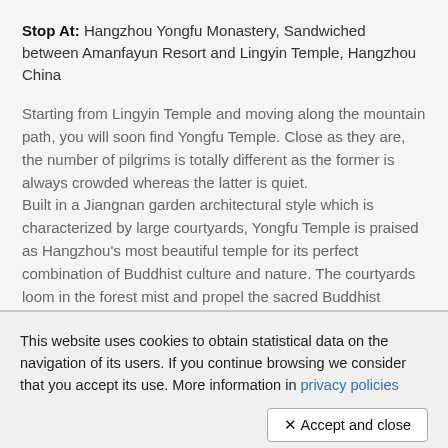Stop At: Hangzhou Yongfu Monastery, Sandwiched between Amanfayun Resort and Lingyin Temple, Hangzhou China
Starting from Lingyin Temple and moving along the mountain path, you will soon find Yongfu Temple. Close as they are, the number of pilgrims is totally different as the former is always crowded whereas the latter is quiet.
Built in a Jiangnan garden architectural style which is characterized by large courtyards, Yongfu Temple is praised as Hangzhou's most beautiful temple for its perfect combination of Buddhist culture and nature. The courtyards loom in the forest mist and propel the sacred Buddhist statues into the spotlight.
This website uses cookies to obtain statistical data on the navigation of its users. If you continue browsing we consider that you accept its use. More information in privacy policies
✕ Accept and close